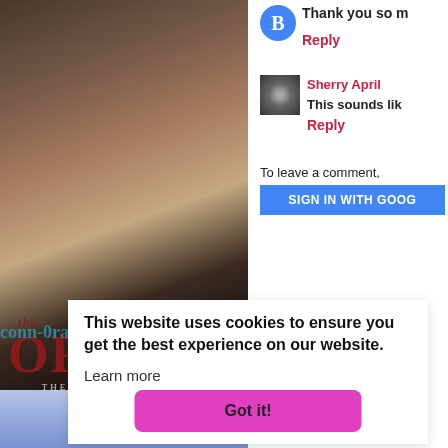[Figure (photo): Book cover of 'The Oracle' by Serena Akeroyd, The Valentine Family series. Features a woman with long dark hair on a dark background with red title text.]
THANK YOU SO M
Reply
Sherry April
THIS SOUNDS LIK
Reply
To leave a comment,
SIGN IN WITH GOOG
Newer Post
Subscribe to: Po
This website uses cookies to ensure you get the best experience on our website.
Learn more
Got it!
[Figure (photo): Partial book cover with blue/purple gradient background, showing partial figure of a person.]